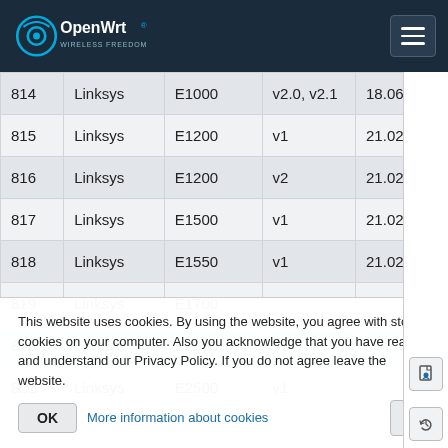OpenWrt
| # | Brand | Model | Version | Ver. |
| --- | --- | --- | --- | --- |
| 814 | Linksys | E1000 | v2.0, v2.1 | 18.06 |
| 815 | Linksys | E1200 | v1 | 21.02 |
| 816 | Linksys | E1200 | v2 | 21.02 |
| 817 | Linksys | E1500 | v1 | 21.02 |
| 818 | Linksys | E1550 | v1 | 21.02 |
| 819 | Linksys | E1700 |  |  |
| 820 | Linksys | E2000 | v1 |  |
| 821 | Linksys | E2500 | v1 |  |
This website uses cookies. By using the website, you agree with storing cookies on your computer. Also you acknowledge that you have read and understand our Privacy Policy. If you do not agree leave the website.